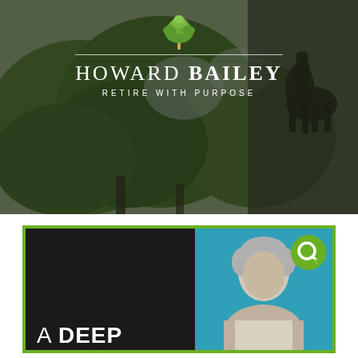[Figure (photo): Outdoor scene with large green trees and a bronze equestrian statue visible in the upper right corner, with Howard Bailey Retire With Purpose logo overlaid on a dark semi-transparent background]
HOWARD BAILEY — RETIRE WITH PURPOSE
[Figure (photo): Dark panel on left with text 'A DEEP' and a photo on the right showing a man with gray hair against a blue background, with a green Q speech-bubble logo in the upper right corner]